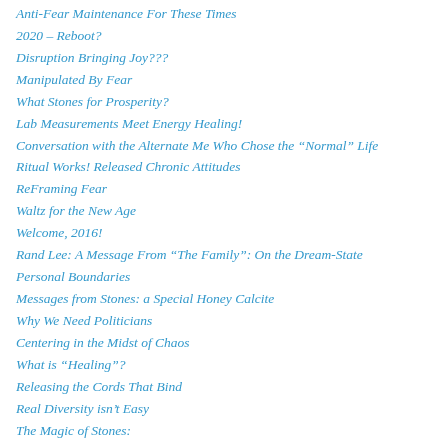Anti-Fear Maintenance For These Times
2020 – Reboot?
Disruption Bringing Joy???
Manipulated By Fear
What Stones for Prosperity?
Lab Measurements Meet Energy Healing!
Conversation with the Alternate Me Who Chose the “Normal” Life
Ritual Works! Released Chronic Attitudes
ReFraming Fear
Waltz for the New Age
Welcome, 2016!
Rand Lee: A Message From “The Family”: On the Dream-State
Personal Boundaries
Messages from Stones: a Special Honey Calcite
Why We Need Politicians
Centering in the Midst of Chaos
What is “Healing”?
Releasing the Cords That Bind
Real Diversity isn’t Easy
The Magic of Stones: